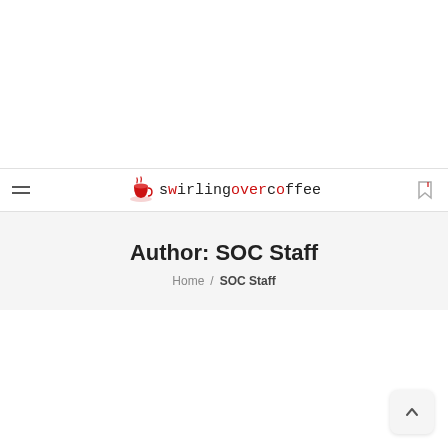[Figure (logo): Swirling Over Coffee logo with coffee cup icon and typewriter-style text 'swirlingovercoffee' with 'o', 'v', 'e', 'r' in red]
Author: SOC Staff
Home / SOC Staff